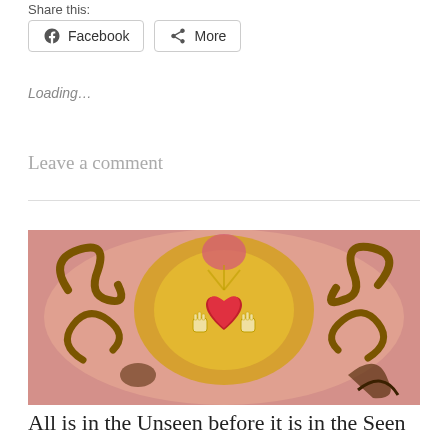Share this:
Facebook  More
Loading...
Leave a comment
[Figure (illustration): Colorful painting featuring a central golden figure with a red heart, swirling brown decorative elements, and a pink background with warm tones.]
All is in the Unseen before it is in the Seen